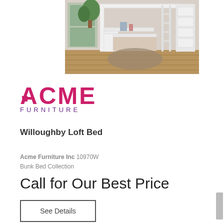[Figure (photo): White loft bed with desk and ladder in a room setting with wood floors]
[Figure (logo): ACME FURNITURE logo in pink and purple]
Willoughby Loft Bed
Acme Furniture Inc 10970W
Bunk Bed Collection
Call for Our Best Price
See Details